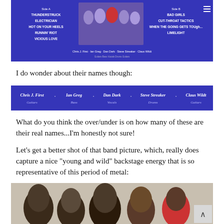[Figure (photo): Blue album back cover showing band members and track listing for both sides, with group photo]
I do wonder about their names though:
[Figure (other): Blue banner strip showing band member names and instruments: Chris J. First (Guitars), Ian Greg (Bass), Dan Dark (Vocals), Steve Streaker (Drums), Claus Wildt (Guitars)]
What do you think the over/under is on how many of these are their real names...I'm honestly not sure!
Let’s get a better shot of that band picture, which, really does capture a nice “young and wild” backstage energy that is so representative of this period of metal:
[Figure (photo): Band photo showing five members with big hair in a backstage setting, capturing 1980s metal era energy]